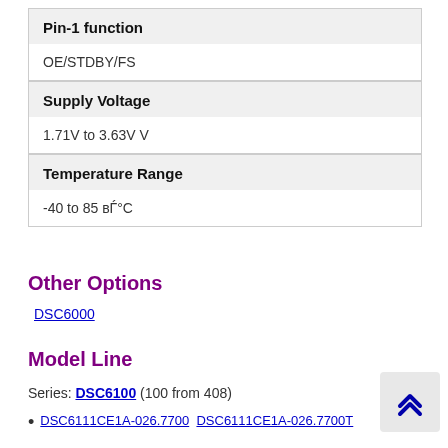| Property | Value |
| --- | --- |
| Pin-1 function | OE/STDBY/FS |
| Supply Voltage | 1.71V to 3.63V V |
| Temperature Range | -40 to 85 вЃ°C |
Other Options
DSC6000
Model Line
Series: DSC6100 (100 from 408)
DSC6111CE1A-026.7700  DSC6111CE1A-026.7700T